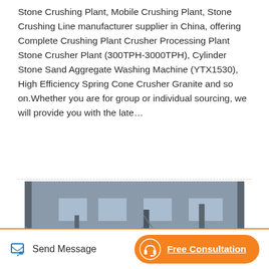Stone Crushing Plant, Mobile Crushing Plant, Stone Crushing Line manufacturer supplier in China, offering Complete Crushing Plant Crusher Processing Plant Stone Crusher Plant (300TPH-3000TPH), Cylinder Stone Sand Aggregate Washing Machine (YTX1530), High Efficiency Spring Cone Crusher Granite and so on.Whether you are for group or individual sourcing, we will provide you with the late…
[Figure (photo): Industrial manufacturing facility interior showing multiple stone crusher machines with large black and red flywheels/wheels lined up on a factory floor. The factory has a steel truss roof structure with windows, blue banners with Chinese text on walls and columns.]
Send Message
Free Consultation